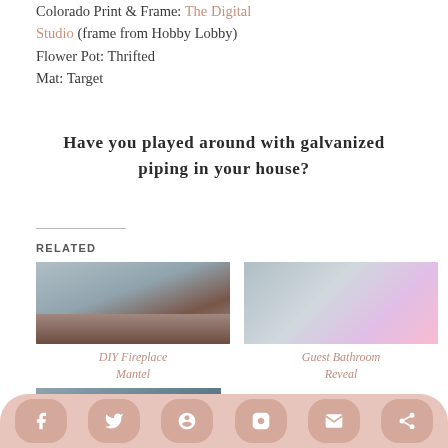Colorado Print & Frame: The Digital Studio (frame from Hobby Lobby)
Flower Pot: Thrifted
Mat: Target
Have you played around with galvanized piping in your house?
RELATED
[Figure (photo): DIY Fireplace Mantel thumbnail photo]
DIY Fireplace Mantel
[Figure (photo): Guest Bathroom Reveal thumbnail photo]
Guest Bathroom Reveal
[Figure (photo): Third related article thumbnail photo (partially visible)]